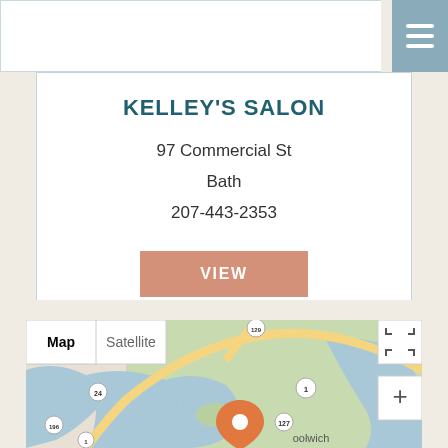KELLEY'S SALON
97 Commercial St
Bath
207-443-2353
VIEW
[Figure (map): Google Map showing the area around Bath, Maine with roads, waterways, and a location pin marker near Woolwich. Map/Satellite toggle buttons visible at top left, fullscreen and zoom controls on right.]